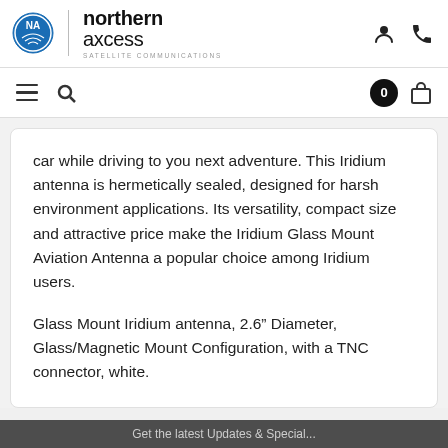Northern Axcess - Satellite Communications
car while driving to you next adventure. This Iridium antenna is hermetically sealed, designed for harsh environment applications. Its versatility, compact size and attractive price make the Iridium Glass Mount Aviation Antenna a popular choice among Iridium users.
Glass Mount Iridium antenna, 2.6” Diameter, Glass/Magnetic Mount Configuration, with a TNC connector, white.
Get the latest Updates & Special...